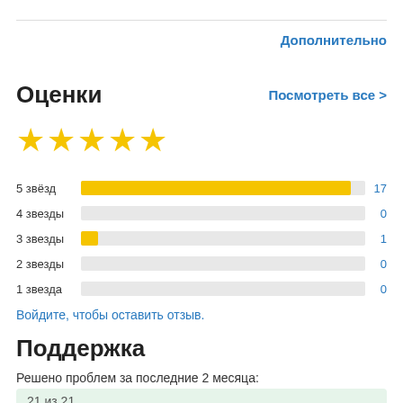Дополнительно
Оценки
Посмотреть все >
[Figure (other): 5 yellow stars rating display]
[Figure (bar-chart): Ratings breakdown]
Войдите, чтобы оставить отзыв.
Поддержка
Решено проблем за последние 2 месяца:
21 из 21